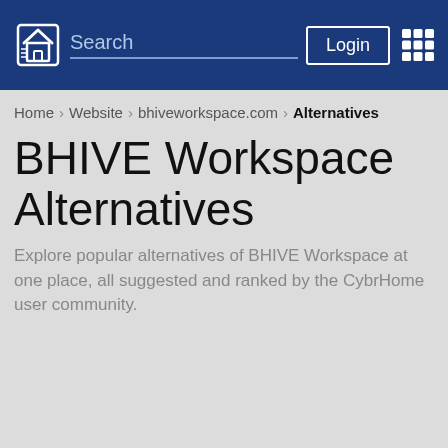Search | Login
Home > Website > bhiveworkspace.com > Alternatives
BHIVE Workspace Alternatives
Explore popular alternatives of BHIVE Workspace at one place, all suggested and ranked by the CybrHome user community.